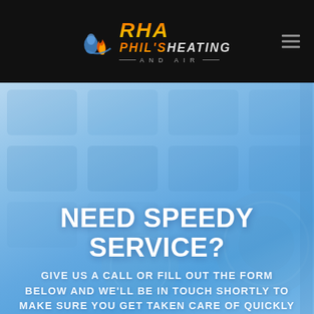[Figure (logo): Phil's Heating and Air logo with RHA stylized text and flame/water droplet icon on dark navigation bar]
[Figure (photo): Blue-tinted HVAC equipment background image showing air vents/grilles and mechanical components]
NEED SPEEDY SERVICE?
GIVE US A CALL OR FILL OUT THE FORM BELOW AND WE'LL BE IN TOUCH SHORTLY TO MAKE SURE YOU GET TAKEN CARE OF QUICKLY